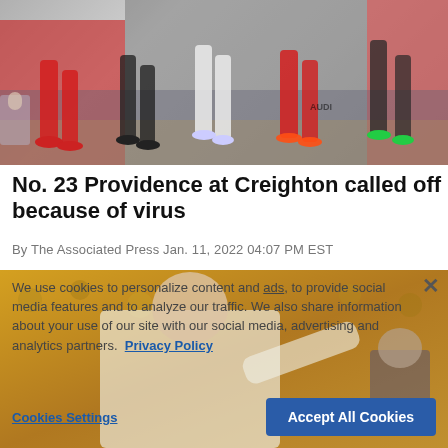[Figure (photo): Basketball game action photo showing players from two teams running on the court, with cheerleaders and crowd in background. One team in red uniforms, other in dark/gray.]
No. 23 Providence at Creighton called off because of virus
By The Associated Press Jan. 11, 2022 04:07 PM EST
[Figure (photo): Basketball coach or official gesturing, with yellow/gold crowd in background.]
We use cookies to personalize content and ads, to provide social media features and to analyze our traffic. We also share information about your use of our site with our social media, advertising and analytics partners. Privacy Policy
Cookies Settings   Accept All Cookies